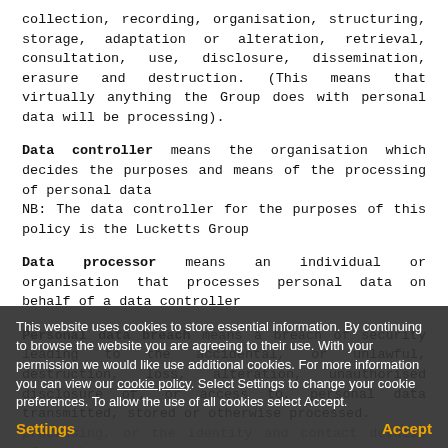collection, recording, organisation, structuring, storage, adaptation or alteration, retrieval, consultation, use, disclosure, dissemination, erasure and destruction. (This means that virtually anything the Group does with personal data will be processing).
Data controller means the organisation which decides the purposes and means of the processing of personal data NB: The data controller for the purposes of this policy is the Lucketts Group
Data processor means an individual or organisation that processes personal data on behalf of a data controller
Personal data breach means a breach of security leading to the accidental, or unlawful, destruction, loss, alteration, unauthorised disclosure of, or access to, personal data transmitted, stored or otherwise processed.
This website uses cookies to store essential information. By continuing to browse the website you are agreeing to their use. With your permission we would like use additional cookies. For more information you can view our cookie policy. Select Settings to change your cookie preferences. To allow the use of all cookies select Accept.